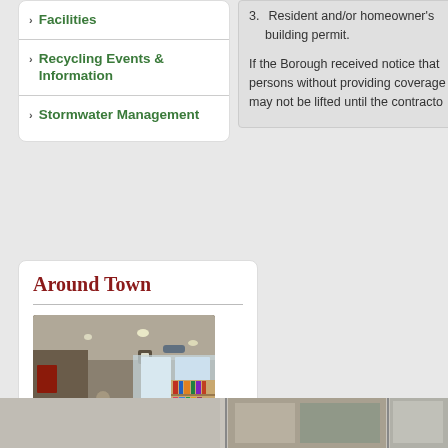Facilities
Recycling Events & Information
Stormwater Management
3. Resident and/or homeowner's building permit.
If the Borough received notice that persons without providing coverage may not be lifted until the contracto
Around Town
[Figure (photo): Interior of a public library or municipal building lobby, showing a circulation desk, bookshelves, and people in the background]
[Figure (photo): Bottom row partial photos of outdoor scenes]